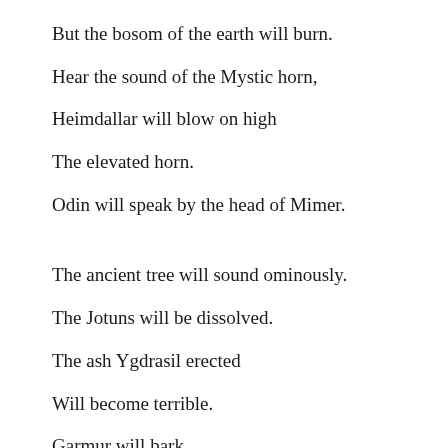But the bosom of the earth will burn.
Hear the sound of the Mystic horn,
Heimdallar will blow on high
The elevated horn.
Odin will speak by the head of Mimer.
The ancient tree will sound ominously.
The Jotuns will be dissolved.
The ash Ygdrasil erected
Will become terrible.
Garmur will bark
Before Gnipur's cave.
The chains will be shattered:
And Freco will run forth.